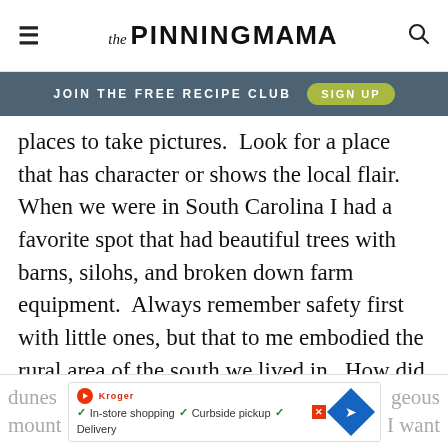The PINNING MAMA
JOIN THE FREE RECIPE CLUB   SIGN UP
places to take pictures.  Look for a place that has character or shows the local flair.  When we were in South Carolina I had a favorite spot that had beautiful trees with barns, silohs, and broken down farm equipment.  Always remember safety first with little ones, but that to me embodied the rural area of the south we lived in.  How did I find it? It was something I just saw as I was driving down the road.  In Florida we took pictures on the beach and in the sand dunes
dunes ... geous mount... I want [advertisement overlay: In-store shopping, Curbside pickup, Delivery]